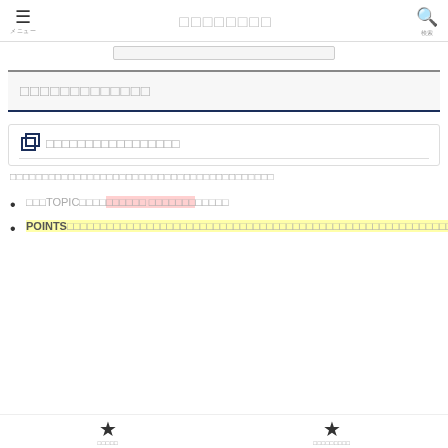≡ メニュー  □□□□□□□□  🔍 検索
□□□□□□□□□□□□□
□□□□□□□□□□□□□□□□□
□□□□□□□□□□□□□□□□□□□□□□□□□□□□□□□□□□□□□□□□
□□□TOPIC□□□□□□[highlight]□□□□□□ □□□□□□□[/highlight]□□□□□
POINTS□□□□□□□□□□□□□□□□□□□□□□□□□□□□□□□□□□□□□□□□□□□□□□□□□□□□□□□□□□□□□
★ □□□□□□  ★ □□□□□□□□□□